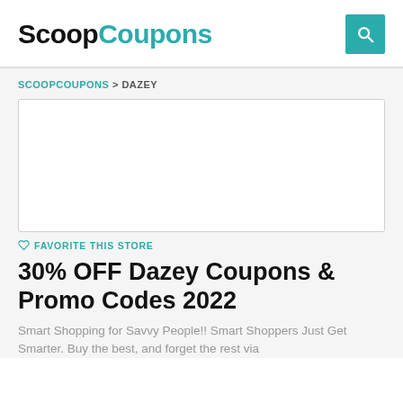ScoopCoupons
SCOOPCOUPONS > DAZEY
[Figure (other): Empty white store logo/banner placeholder rectangle with light border]
♡ FAVORITE THIS STORE
30% OFF Dazey Coupons & Promo Codes 2022
Smart Shopping for Savvy People!! Smart Shoppers Just Get Smarter. Buy the best, and forget the rest via